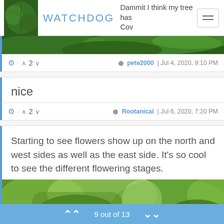WATCHDOG | Dammit I think my tree has Cov
[Figure (photo): Close-up of dark green leaves, partial view at top of page]
⚙ · ∧ 2 ∨   pete2000 | Jul 4, 2020, 9:10 PM
nice
⚙ · ∧ 2 ∨   Rootanical | Jul 6, 2020, 7:20 PM
Starting to see flowers show up on the north and west sides as well as the east side. It's so cool to see the different flowering stages.
[Figure (photo): Photo of green tree leaves with blurred background]
9 out of 13